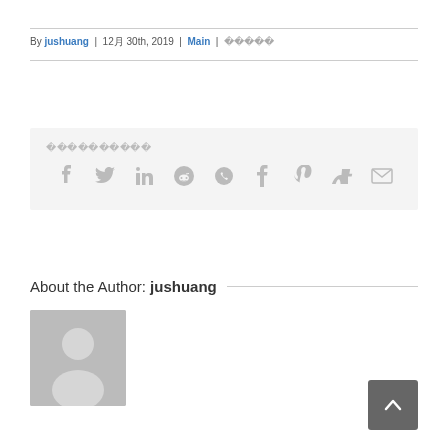By jushuang | 12月 30th, 2019 | Main | 이전 포스트 →
[Figure (infographic): Share icons row including Facebook, Twitter, LinkedIn, Reddit, WhatsApp, Tumblr, Pinterest, VK, Email on gray background with garbled text label above]
About the Author: jushuang
[Figure (photo): Default author avatar placeholder - gray square with silhouette of a person]